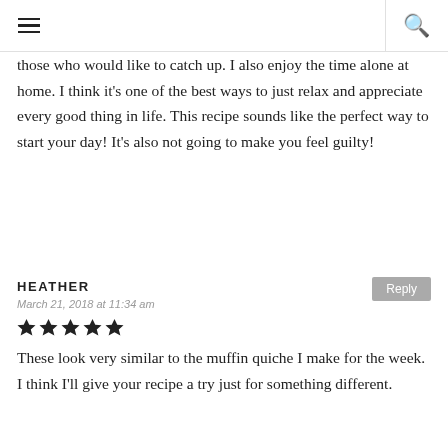those who would like to catch up. I also enjoy the time alone at home. I think it's one of the best ways to just relax and appreciate every good thing in life. This recipe sounds like the perfect way to start your day! It's also not going to make you feel guilty!
HEATHER
March 21, 2018 at 11:34 am
These look very similar to the muffin quiche I make for the week. I think I'll give your recipe a try just for something different.